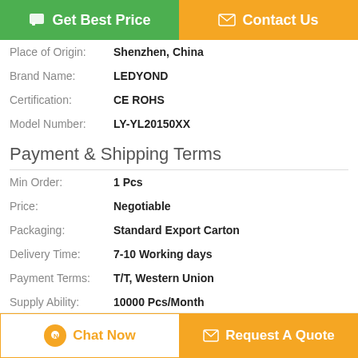[Figure (other): Two buttons: 'Get Best Price' (green) and 'Contact Us' (orange)]
Place of Origin: Shenzhen, China
Brand Name: LEDYOND
Certification: CE ROHS
Model Number: LY-YL20150XX
Payment & Shipping Terms
Min Order: 1 Pcs
Price: Negotiable
Packaging: Standard Export Carton
Delivery Time: 7-10 Working days
Payment Terms: T/T, Western Union
Supply Ability: 10000 Pcs/Month
Description
[Figure (other): Two bottom buttons: 'Chat Now' (white/orange outline) and 'Request A Quote' (orange)]